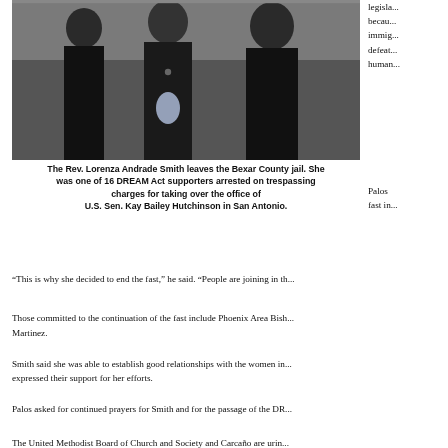[Figure (photo): The Rev. Lorenza Andrade Smith leaving Bexar County jail, wearing dark clothing, with other people nearby.]
The Rev. Lorenza Andrade Smith leaves the Bexar County jail. She was one of 16 DREAM Act supporters arrested on trespassing charges for taking over the office of U.S. Sen. Kay Bailey Hutchinson in San Antonio.
legisla... becau... immig... defeat... human...
Palos... fast in...
“This is why she decided to end the fast,” he said. “People are joining in th...
Those committed to the continuation of the fast include Phoenix Area Bish... Martinez.
Smith said she was able to establish good relationships with the women in... expressed their support for her efforts.
Palos asked for continued prayers for Smith and for the passage of the DR...
The United Methodist Board of Church and Society and Carcaño are urin... and representatives to ask them to vote for the DREAM Act. MARCHA, Th... a statement in support of Smith in her act of civil disobedience.
Students on other college campuses have also been demonstrating for th...